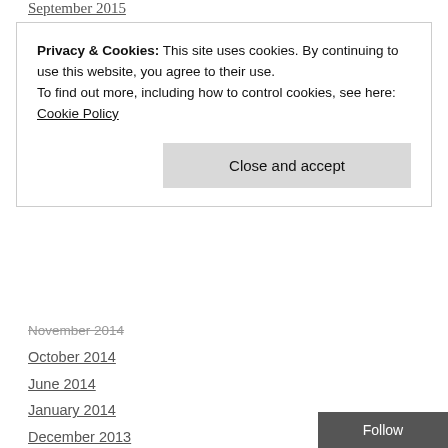September 2015
Privacy & Cookies: This site uses cookies. By continuing to use this website, you agree to their use.
To find out more, including how to control cookies, see here: Cookie Policy
Close and accept
November 2014
October 2014
June 2014
January 2014
December 2013
November 2013
October 2013
September 2013
August 2013
July 2013
June 2013
May 2013
April 2013
Follow